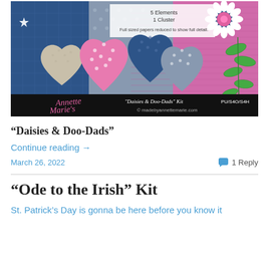[Figure (photo): Scrapbook digital kit preview image for 'Daisies & Doo-Dads' showing hearts, daisy flower, pink and blue patterned papers, and Annette Marie's watermark with kit name, PU/S4O/S4H license and madebyannetermarie.com copyright]
“Daisies & Doo-Dads”
Continue reading →
March 26, 2022
1 Reply
“Ode to the Irish” Kit
St. Patrick’s Day is gonna be here before you know it